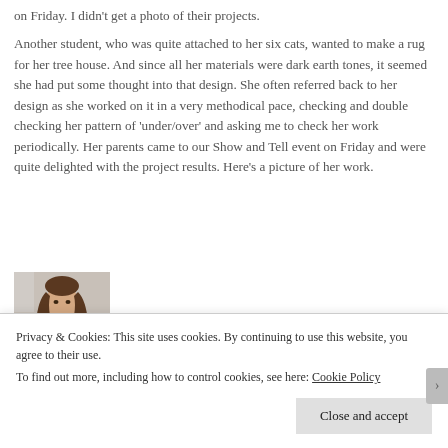on Friday. I didn't get a photo of their projects.
Another student, who was quite attached to her six cats, wanted to make a rug for her tree house. And since all her materials were dark earth tones, it seemed she had put some thought into that design. She often referred back to her design as she worked on it in a very methodical pace, checking and double checking her pattern of 'under/over' and asking me to check her work periodically. Her parents came to our Show and Tell event on Friday and were quite delighted with the project results. Here's a picture of her work.
[Figure (photo): A young girl with long brown hair holding a woven rug project in dark earth tones]
Privacy & Cookies: This site uses cookies. By continuing to use this website, you agree to their use.
To find out more, including how to control cookies, see here: Cookie Policy
Close and accept